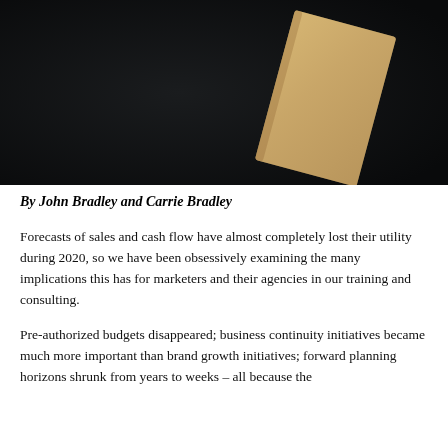[Figure (photo): A kraft paper envelope or card lying at an angle on a dark black background, photographed from above.]
By John Bradley and Carrie Bradley
Forecasts of sales and cash flow have almost completely lost their utility during 2020, so we have been obsessively examining the many implications this has for marketers and their agencies in our training and consulting.
Pre-authorized budgets disappeared; business continuity initiatives became much more important than brand growth initiatives; forward planning horizons shrunk from years to weeks – all because the